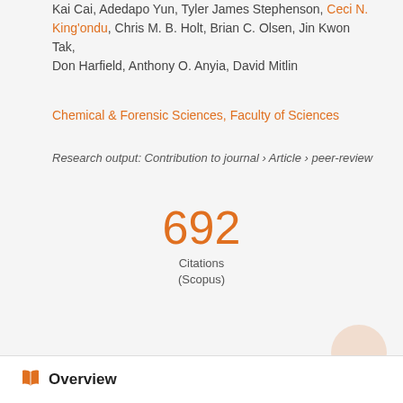Kai Cai, Adedapo Olu, Tyler James Stephenson, Ceci N. King'ondu, Chris M. B. Holt, Brian C. Olsen, Jin Kwon Tak, Don Harfield, Anthony O. Anyia, David Mitlin
Chemical & Forensic Sciences, Faculty of Sciences
Research output: Contribution to journal › Article › peer-review
692 Citations (Scopus)
Overview